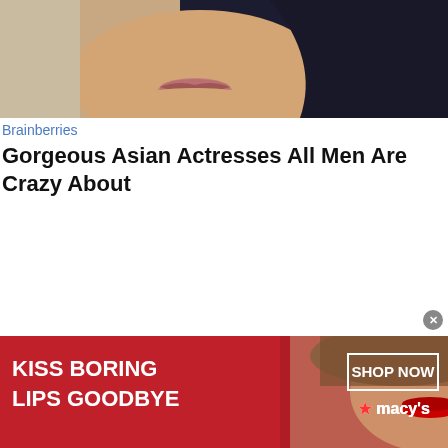[Figure (photo): Close-up photo of a woman with dark blue-black hair and pink lips against a light background, cropped to show lower face and hair]
Brainberries
Gorgeous Asian Actresses All Men Are Crazy About
[Figure (photo): Advertisement banner for Macy's with red background. Text reads 'KISS BORING LIPS GOODBYE' on the left and 'SHOP NOW ★ macy's' on the right. Center shows a close-up of a woman's face with red lips.]